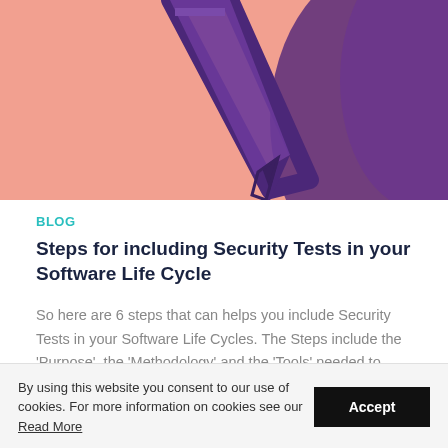[Figure (illustration): Salmon/peach background with a large stylized purple pencil icon pointing downward, partially cropped. A dark purple curved shape on the right side.]
BLOG
Steps for including Security Tests in your Software Life Cycle
So here are 6 steps that can helps you include Security Tests in your Software Life Cycles. The Steps include the 'Purpose', the 'Methodology' and the 'Tools' needed to achieve...
Read More +
By using this website you consent to our use of cookies. For more information on cookies see our Read More  Accept